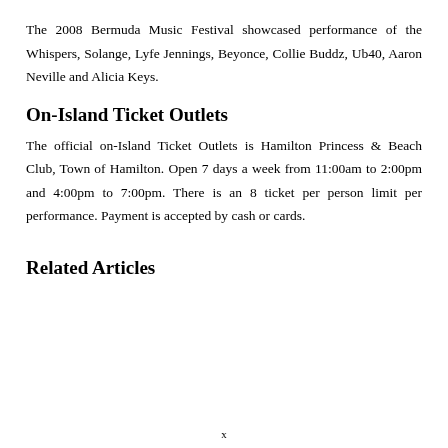The 2008 Bermuda Music Festival showcased performance of the Whispers, Solange, Lyfe Jennings, Beyonce, Collie Buddz, Ub40, Aaron Neville and Alicia Keys.
On-Island Ticket Outlets
The official on-Island Ticket Outlets is Hamilton Princess & Beach Club, Town of Hamilton. Open 7 days a week from 11:00am to 2:00pm and 4:00pm to 7:00pm. There is an 8 ticket per person limit per performance. Payment is accepted by cash or cards.
Related Articles
x